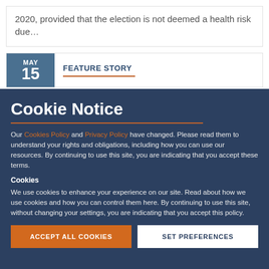2020, provided that the election is not deemed a health risk due…
MAY 15 FEATURE STORY
Cookie Notice
Our Cookies Policy and Privacy Policy have changed. Please read them to understand your rights and obligations, including how you can use our resources. By continuing to use this site, you are indicating that you accept these terms.
Cookies
We use cookies to enhance your experience on our site. Read about how we use cookies and how you can control them here. By continuing to use this site, without changing your settings, you are indicating that you accept this policy.
ACCEPT ALL COOKIES
SET PREFERENCES